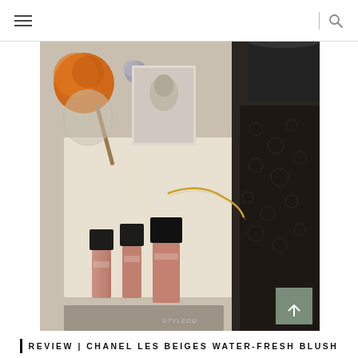Navigation header with hamburger menu and search icon
[Figure (photo): Flat lay beauty/cosmetics photo showing Chanel Les Beiges Water-Fresh Blush products arranged on a cream surface with an orange makeup brush, black lace fabric, gold chain jewelry, a dark cylindrical container, and cosmetic bottles with black caps]
| REVIEW | CHANEL LES BEIGES WATER-FRESH BLUSH